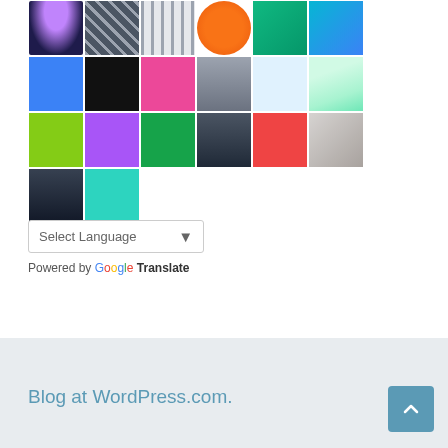[Figure (illustration): Grid of user avatar images and pattern icons arranged in 4 rows]
[Figure (screenshot): Google Translate language selector widget with 'Select Language' dropdown and 'Powered by Google Translate' text]
Blog at WordPress.com.
[Figure (illustration): Scroll to top button with upward arrow in teal/blue color]